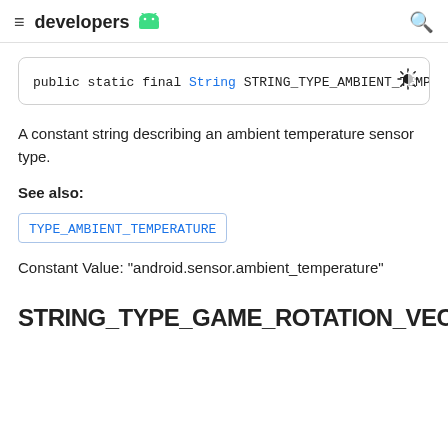developers
public static final String STRING_TYPE_AMBIENT_TEMPE
A constant string describing an ambient temperature sensor type.
See also:
TYPE_AMBIENT_TEMPERATURE
Constant Value: "android.sensor.ambient_temperature"
STRING_TYPE_GAME_ROTATION_VECTOR